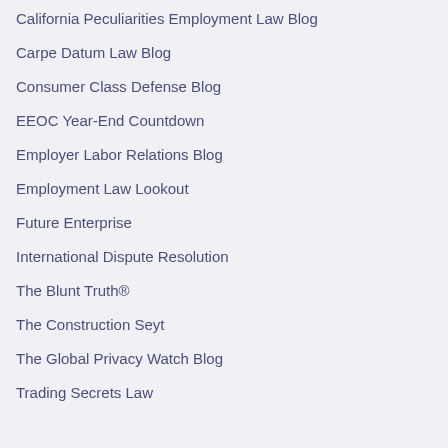California Peculiarities Employment Law Blog
Carpe Datum Law Blog
Consumer Class Defense Blog
EEOC Year-End Countdown
Employer Labor Relations Blog
Employment Law Lookout
Future Enterprise
International Dispute Resolution
The Blunt Truth®
The Construction Seyt
The Global Privacy Watch Blog
Trading Secrets Law